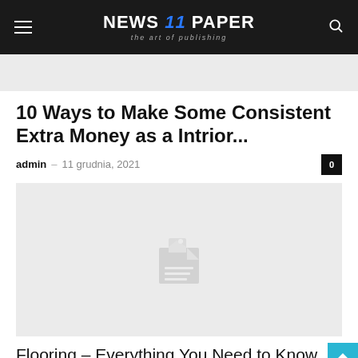NEWS 11 PAPER — the art of publishing
[Figure (photo): Partially visible article thumbnail image placeholder (gray background)]
10 Ways to Make Some Consistent Extra Money as a Intrior...
admin – 11 grudnia, 2021   0
[Figure (photo): Broken/placeholder image with generic document icon on gray background]
Flooring – Everything You Need to Know